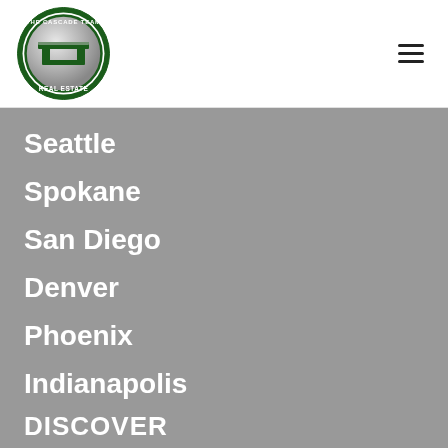[Figure (logo): The Cascade Team Real Estate circular logo with green border and silver CT monogram]
Seattle
Spokane
San Diego
Denver
Phoenix
Indianapolis
DISCOVER